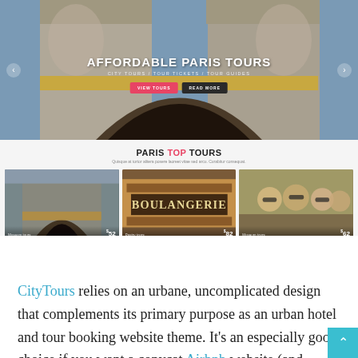[Figure (screenshot): Screenshot of CityTours website hero section showing Arc de Triomphe with 'AFFORDABLE PARIS TOURS' heading, navigation arrows, subtitle 'CITY TOURS / TOUR TICKETS / TOUR GUIDES', and two buttons: VIEW TOURS and READ MORE]
[Figure (screenshot): Screenshot of CityTours 'PARIS TOP TOURS' section with three tour cards showing the Arc de Triomphe ($52), Boulangerie sign ($82), and group of people ($62)]
CityTours relies on an urbane, uncomplicated design that complements its primary purpose as an urban hotel and tour booking website theme. It's an especially good choice if you want a copycat Airbnb website (and there's no shame in that,